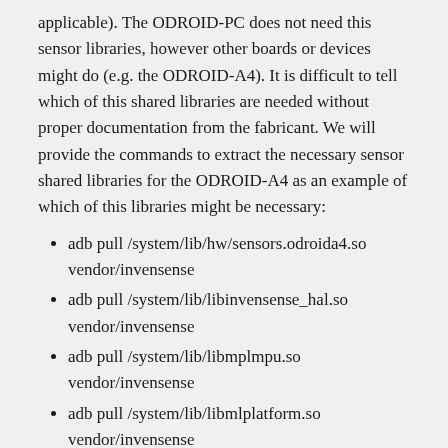applicable). The ODROID-PC does not need this sensor libraries, however other boards or devices might do (e.g. the ODROID-A4). It is difficult to tell which of this shared libraries are needed without proper documentation from the fabricant. We will provide the commands to extract the necessary sensor shared libraries for the ODROID-A4 as an example of which of this libraries might be necessary:
adb pull /system/lib/hw/sensors.odroida4.so vendor/invensense
adb pull /system/lib/libinvensense_hal.so vendor/invensense
adb pull /system/lib/libmplmpu.so vendor/invensense
adb pull /system/lib/libmlplatform.so vendor/invensense
adb pull /system/lib/libmllite.so vendor/invensense
adb pull /system/lib/libakmd.so vendor/invensense
And change the permissions:
chmod -R 755 vendor/invensense/*